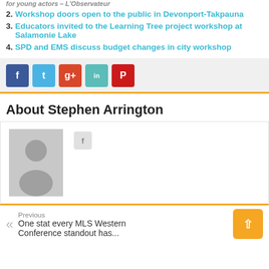1. Workshop for young actors – L'Observateur
2. Workshop doors open to the public in Devonport-Takpauna
3. Educators invited to the Learning Tree project workshop at Salamonie Lake
4. SPD and EMS discuss budget changes in city workshop
[Figure (other): Social sharing buttons: Facebook, Twitter, Google+, LinkedIn, Pinterest]
About Stephen Arrington
[Figure (photo): Generic user avatar placeholder image (grey silhouette of a person)]
Previous
One stat every MLS Western Conference standout has...